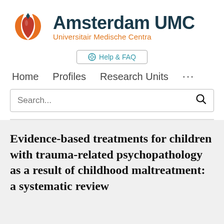[Figure (logo): Amsterdam UMC logo with tulip icon in orange and red and dark teal text reading 'Amsterdam UMC' with subtitle 'Universitair Medische Centra' in orange]
Help & FAQ
Home   Profiles   Research Units   ...
Search...
Evidence-based treatments for children with trauma-related psychopathology as a result of childhood maltreatment: a systematic review